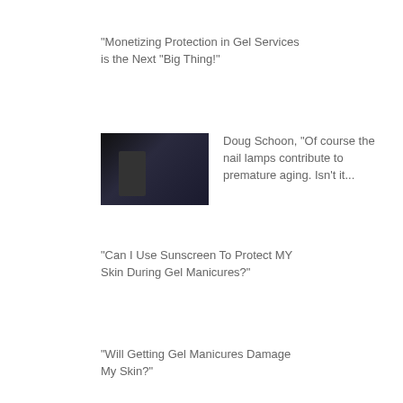"Monetizing Protection in Gel Services is the Next "Big Thing!"
[Figure (photo): Thumbnail image of a person, dark background, appears to be a speaker or presenter]
Doug Schoon, "Of course the nail lamps contribute to premature aging. Isn't it...
"Can I Use Sunscreen To Protect MY Skin During Gel Manicures?"
"Will Getting Gel Manicures Damage My Skin?"